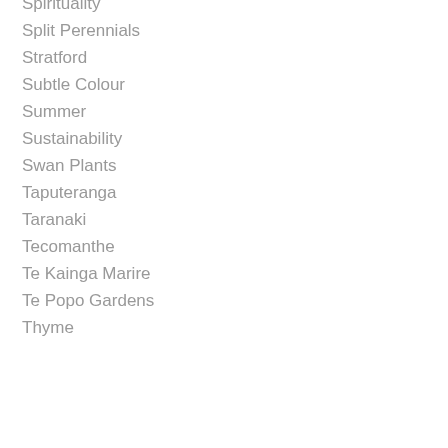Spirituality
Split Perennials
Stratford
Subtle Colour
Summer
Sustainability
Swan Plants
Taputeranga
Taranaki
Tecomanthe
Te Kainga Marire
Te Popo Gardens
Thyme